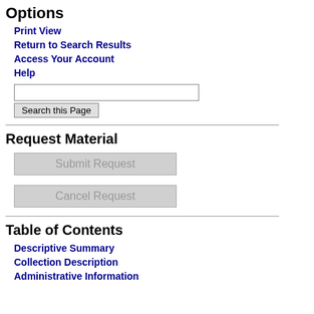Options
Print View
Return to Search Results
Access Your Account
Help
Request Material
Table of Contents
Descriptive Summary
Collection Description
Administrative Information
Davidson C, NC, 1930 ((8"x10"))
VII.1  DR-PF-14
Oxford Un Lacrosse T 1931 ((8"x 5"x7")) neg
VII.1  DR-PF-15
Virginia Fo Rusk, 193 ((5"x7"))
VII.1  DR-PF-16
Roger Rus Richard O Parks Rus Rusk, 193 ((5"x7"))
VII.1  DR-PF-17
Rusk was on with Mi College in Dean and to be Virgi Rusk, und ((8"x10"))
VII.1  DR-PF-18
Dean and Rusk visiti Atlanta, Au
DR-PF-